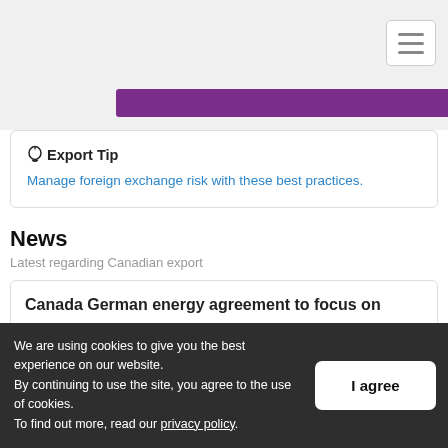[Figure (screenshot): Hamburger/menu button in top right corner of navigation bar]
[Figure (screenshot): Purple button strip partially visible at top of content area]
💡 Export Tip
Manage foreign exchange risk with these best practices.
News
Latest regarding Canadian export
Canada German energy agreement to focus on
We are using cookies to give you the best experience on our website.
By continuing to use the site, you agree to the use of cookies.
To find out more, read our privacy policy.